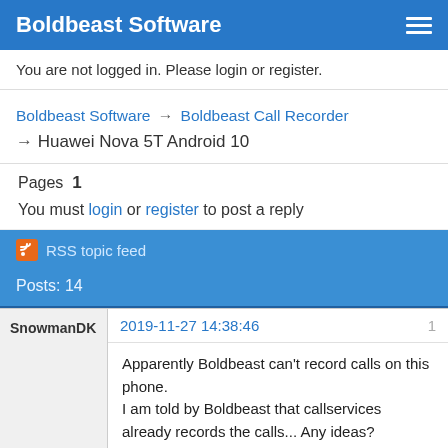Boldbeast Software
You are not logged in. Please login or register.
Boldbeast Software → Boldbeast Call Recorder → Huawei Nova 5T Android 10
Pages 1
You must login or register to post a reply
RSS topic feed
Posts: 14
SnowmanDK
2019-11-27 14:38:46
Apparently Boldbeast can't record calls on this phone.
I am told by Boldbeast that callservices already records the calls... Any ideas?